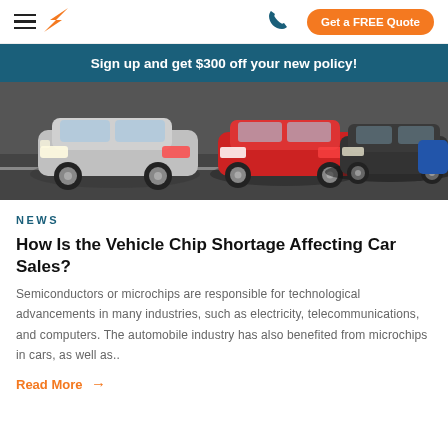Get a FREE Quote
Sign up and get $300 off your new policy!
[Figure (photo): Row of cars parked in a lot: silver, red, dark grey, blue cars viewed from front]
NEWS
How Is the Vehicle Chip Shortage Affecting Car Sales?
Semiconductors or microchips are responsible for technological advancements in many industries, such as electricity, telecommunications, and computers. The automobile industry has also benefited from microchips in cars, as well as..
Read More →